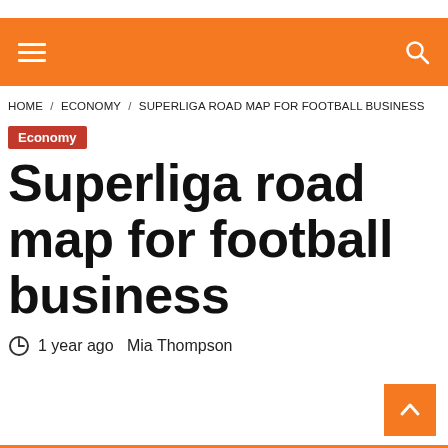Navigation bar with hamburger menu and search icon
HOME / ECONOMY / SUPERLIGA ROAD MAP FOR FOOTBALL BUSINESS
Economy
Superliga road map for football business
1 year ago  Mia Thompson